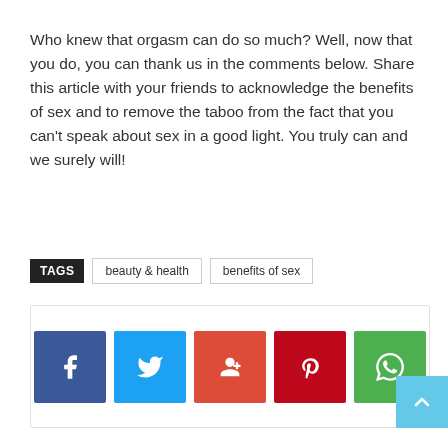Who knew that orgasm can do so much? Well, now that you do, you can thank us in the comments below. Share this article with your friends to acknowledge the benefits of sex and to remove the taboo from the fact that you can't speak about sex in a good light. You truly can and we surely will!
TAGS   beauty & health   benefits of sex
[Figure (other): Social share buttons: Facebook, Twitter, Google+, Pinterest, WhatsApp]